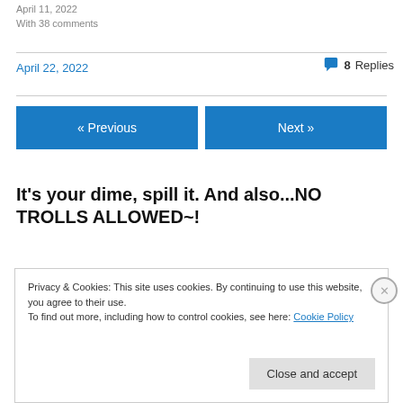April 11, 2022
With 38 comments
April 22, 2022
8 Replies
« Previous
Next »
It's your dime, spill it. And also...NO TROLLS ALLOWED~!
Privacy & Cookies: This site uses cookies. By continuing to use this website, you agree to their use.
To find out more, including how to control cookies, see here: Cookie Policy
Close and accept